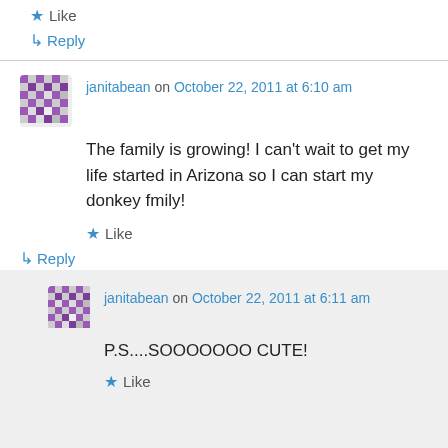★ Like
↳ Reply
janitabean on October 22, 2011 at 6:10 am
The family is growing! I can’t wait to get my life started in Arizona so I can start my donkey fmily!
★ Like
↳ Reply
janitabean on October 22, 2011 at 6:11 am
P.S....SOOOOOOO CUTE!
★ Like